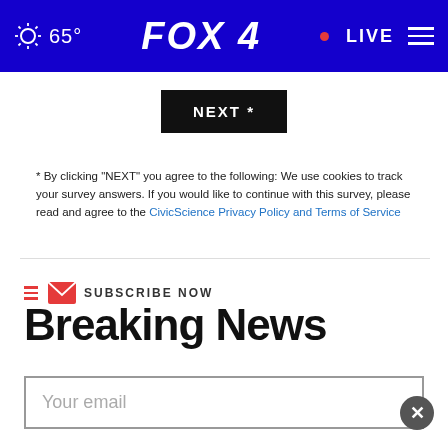FOX 4 | 65° | LIVE
NEXT *
* By clicking "NEXT" you agree to the following: We use cookies to track your survey answers. If you would like to continue with this survey, please read and agree to the CivicScience Privacy Policy and Terms of Service
SUBSCRIBE NOW
Breaking News
Your email
SHE CAN STEM